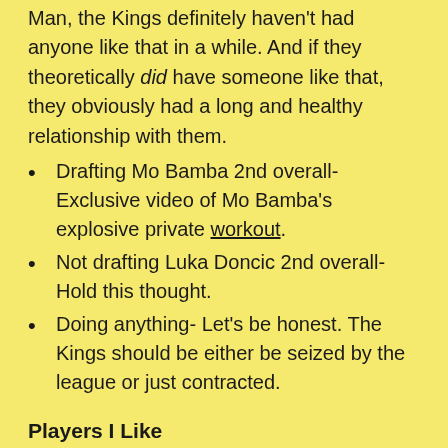Man, the Kings definitely haven't had anyone like that in a while. And if they theoretically did have someone like that, they obviously had a long and healthy relationship with them.
Drafting Mo Bamba 2nd overall- Exclusive video of Mo Bamba's explosive private workout.
Not drafting Luka Doncic 2nd overall- Hold this thought.
Doing anything- Let's be honest. The Kings should be either be seized by the league or just contracted.
Players I Like
Luka Doncic, Slovenia- Having watched precisely 3 highlight videos, I'm all-in on Luka. By all-in I think he'll be a very good NBA player, make a couple All